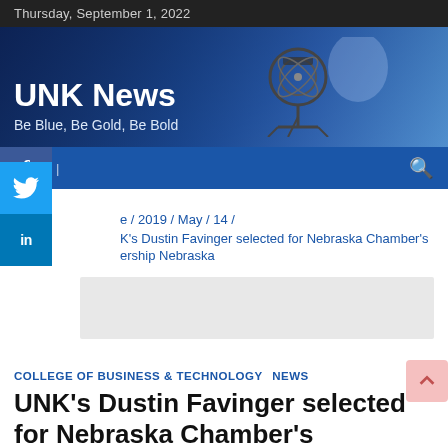Thursday, September 1, 2022
[Figure (illustration): UNK News website hero banner with blue gradient background and camera/equipment silhouette]
UNK News
Be Blue, Be Gold, Be Bold
[Figure (screenshot): Blue navigation bar with Facebook icon (f) social button, search icon]
[Figure (illustration): Social share buttons column: Facebook (blue), Twitter (light blue), LinkedIn (dark blue)]
e / 2019 / May / 14 /
K's Dustin Favinger selected for Nebraska Chamber's ership Nebraska
[Figure (other): Grey advertisement placeholder box]
COLLEGE OF BUSINESS & TECHNOLOGY  NEWS
UNK's Dustin Favinger selected for Nebraska Chamber's Leadership Nebraska